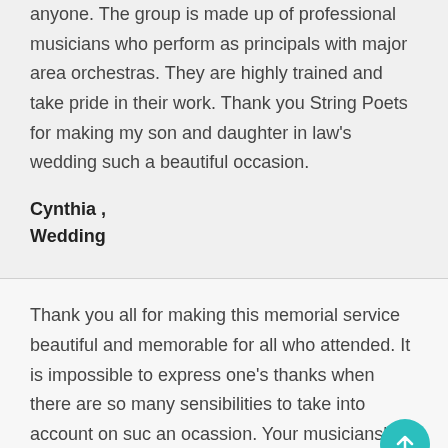anyone. The group is made up of professional musicians who perform as principals with major area orchestras. They are highly trained and take pride in their work. Thank you String Poets for making my son and daughter in law's wedding such a beautiful occasion.
Cynthia ,
Wedding
Thank you all for making this memorial service beautiful and memorable for all who attended. It is impossible to express one's thanks when there are so many sensibilities to take into account on such an ocassion. Your musicianship and the intelligenc